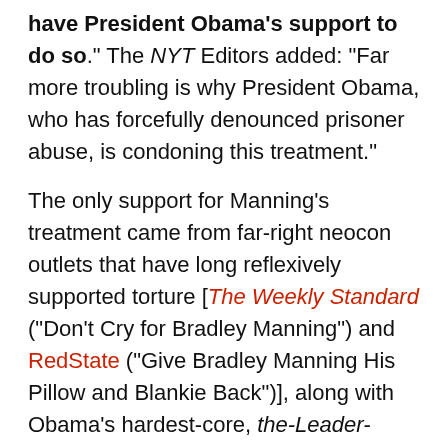have President Obama's support to do so." The NYT Editors added: "Far more troubling is why President Obama, who has forcefully denounced prisoner abuse, is condoning this treatment."
The only support for Manning's treatment came from far-right neocon outlets that have long reflexively supported torture [The Weekly Standard ("Don't Cry for Bradley Manning") and RedState ("Give Bradley Manning His Pillow and Blankie Back")], along with Obama's hardest-core, the-Leader-does-not-err followers who echoed those neocons almost verbatim, such as this front-page writer at the liberal blog Crooks & Liars ("the meme o the day seems to be on Manning's so-called torture, to which I say 'boo